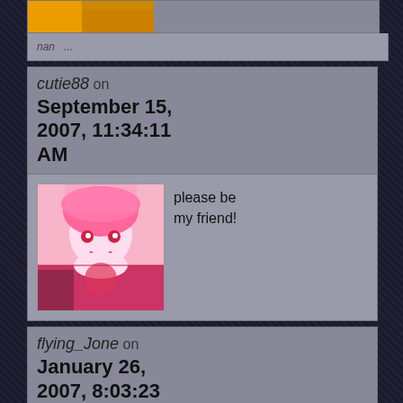[Figure (screenshot): Partial top comment block showing cropped anime avatar image at top]
cutie88 on September 15, 2007, 11:34:11 AM
[Figure (illustration): Anime style pink-haired girl avatar]
please be my friend!
flying_Jone on January 26, 2007, 8:03:23 AM
[Figure (photo): Black and white photo avatar of a person]
hello!! how are you??